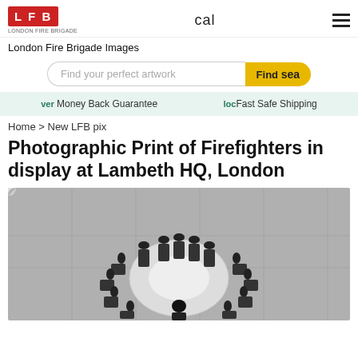LFB LONDON FIRE BRIGADE
London Fire Brigade Images
Find your perfect artwork  Find sea
ver Money Back Guarantee   loc Fast Safe Shipping
Home > New LFB pix
Photographic Print of Firefighters in display at Lambeth HQ, London
[Figure (photo): Aerial/overhead black and white photograph of firefighters arranged in a circular formation around a central white disc, viewed from above, at Lambeth HQ, London.]